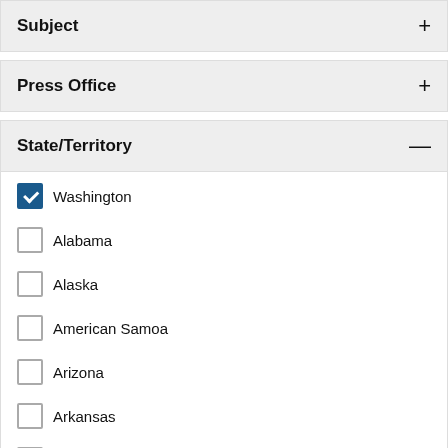Subject +
Press Office +
State/Territory −
Washington (checked)
Alabama
Alaska
American Samoa
Arizona
Arkansas
California
Central America & Caribbean
Colorado